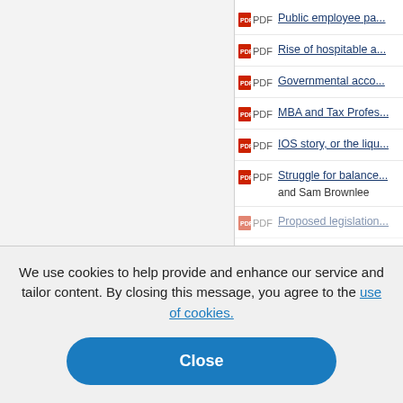PDF  Public employee pa...
PDF  Rise of hospitable a...
PDF  Governmental acco...
PDF  MBA and Tax Profes...
PDF  IOS story, or the liqu...
PDF  Struggle for balance... and Sam Brownlee
PDF  Proposed legislation...
PDF  ...government...
PDF  How audit committe...
PDF  Urban fiscal stress:...
PDF  Accounting and aud...
We use cookies to help provide and enhance our service and tailor content. By closing this message, you agree to the use of cookies.
Close